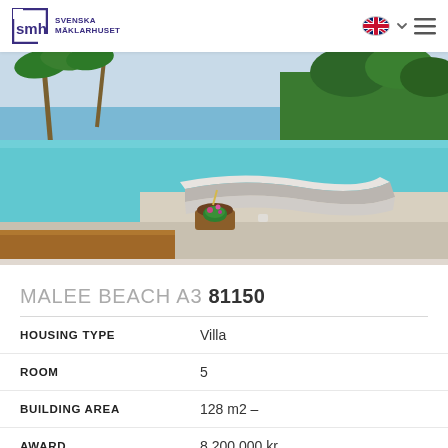SMH Svenska Mäklarhuset
[Figure (photo): Luxury villa swimming pool with lounge chairs and palm trees, ocean view in the background]
MALEE BEACH A3 81150
| Property | Value |
| --- | --- |
| HOUSING TYPE | Villa |
| ROOM | 5 |
| BUILDING AREA | 128 m2 – |
| AWARD | 8 200 000 kr |